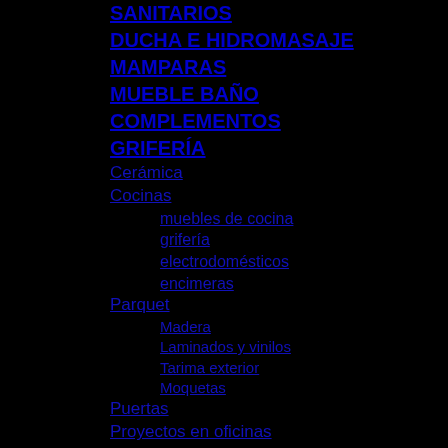SANITARIOS
DUCHA E HIDROMASAJE
MAMPARAS
MUEBLE BAÑO
COMPLEMENTOS
GRIFERÍA
Cerámica
Cocinas
muebles de cocina
grifería
electrodomésticos
encimeras
Parquet
Madera
Laminados y vinilos
Tarima exterior
Moquetas
Puertas
Proyectos en oficinas
[Figure (logo): bauformat Küchen logo in white text on black background]
ACTUALIDAD
BLOG
[Figure (illustration): Twitter bird icon in blue]